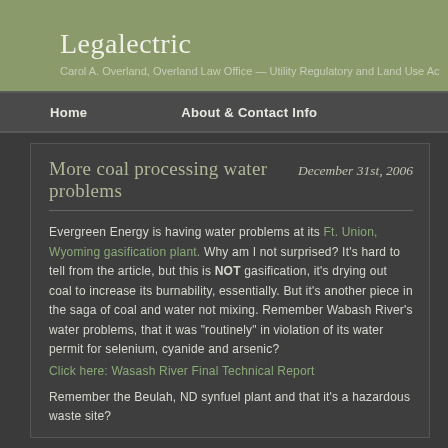Legalectric
Carol A. Overland, Overland Law Office — Utility Regulatory and Land Use Ac
Home   About & Contact Info
More coal processing water problems   December 31st, 2006
Evergreen Energy is having water problems at its Ft. Union, Wyoming gasification plant. Why am I not surprised? It's hard to tell from the article, but this is NOT gasification, it's drying out coal to increase its burnability, essentially. But it's another piece in the saga of coal and water not mixing. Remember Wabash River's water problems, that it was "routinely" in violation of its water permit for selenium, cyanide and arsenic?
Click here: Wasash River Final Technical Report
Remember the Beulah, ND synfuel plant and that it's a hazardous waste site?